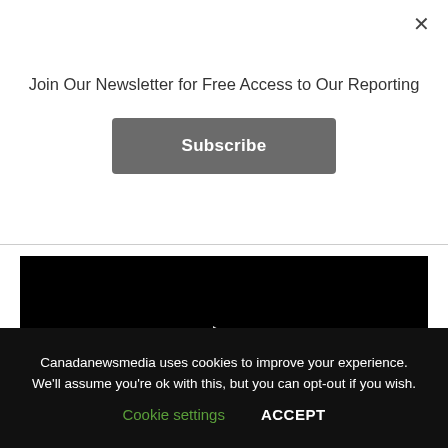Join Our Newsletter for Free Access to Our Reporting
Subscribe
[Figure (screenshot): Black video player area with a white play button triangle in the center]
Canadanewsmedia uses cookies to improve your experience. We'll assume you're ok with this, but you can opt-out if you wish.
Cookie settings
ACCEPT